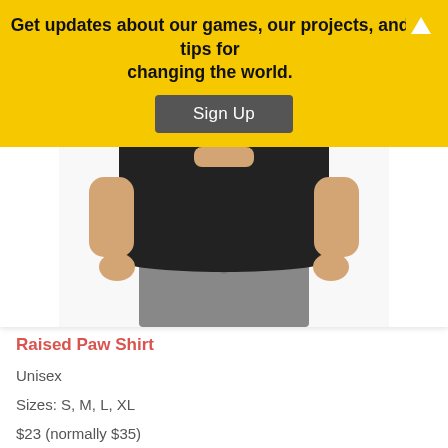Get updates about our games, our projects, and tips for changing the world.
Sign Up
[Figure (photo): Photo of a person wearing a plain black t-shirt with grey jeans, shown from neck to thigh level]
Raised Paw Shirt
Unisex
Sizes: S, M, L, XL
$23 (normally $35)